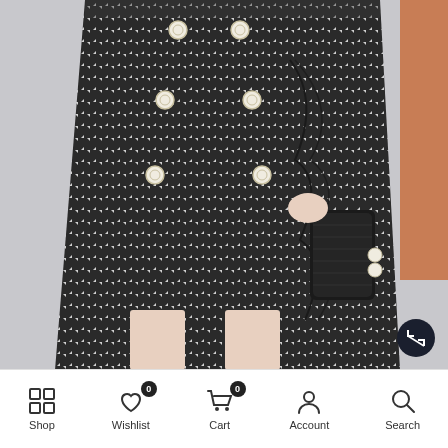[Figure (photo): A woman wearing a black and white houndstooth/plaid pencil skirt with pearl buttons down the front and a ruffled detail on the side, holding a black clutch bag. Partial view of another person in an orange outfit on the right edge.]
Shop | Wishlist 0 | Cart 0 | Account | Search